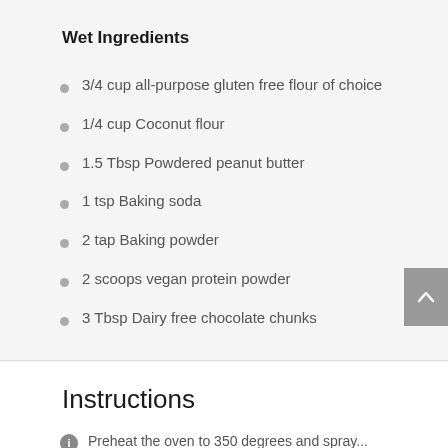Wet Ingredients
3/4 cup all-purpose gluten free flour of choice
1/4 cup Coconut flour
1.5 Tbsp Powdered peanut butter
1 tsp Baking soda
2 tap Baking powder
2 scoops vegan protein powder
3 Tbsp Dairy free chocolate chunks
Instructions
Preheat the oven to 350 degrees and spray...